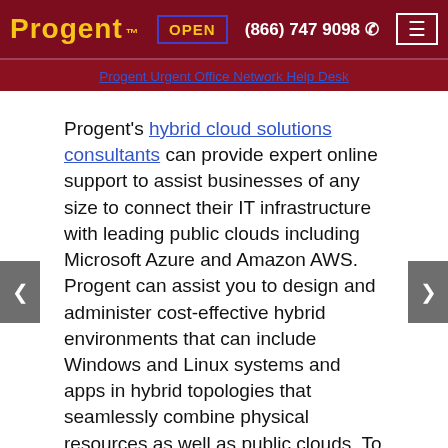Progent™  OPEN  (866) 747 9098  ☎
Progent Urgent Office Network Help Desk
Progent's hybrid cloud solutions consultants can provide expert online support to assist businesses of any size to connect their IT infrastructure with leading public clouds including Microsoft Azure and Amazon AWS. Progent can assist you to design and administer cost-effective hybrid environments that can include Windows and Linux systems and apps in hybrid topologies that seamlessly combine physical resources as well as public clouds. To assist you to incorporate public cloud services with physical datacenters, Progent can provide a range of cloud migration services that include Microsoft 365 Exchange Online integration with on-premises Exchange and Microsoft Azure hybrid cloud planning and integration services, Amazon Web Services (AWS) cloud migration, and Amazon Web